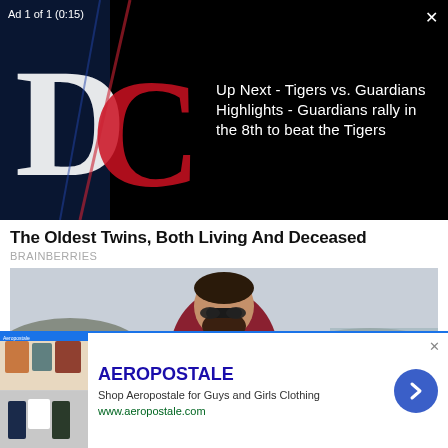[Figure (screenshot): Video ad overlay showing Detroit Tigers vs Cleveland Guardians baseball logos on black background. Left side shows team logos, right side shows 'Up Next' text info.]
Ad 1 of 1 (0:15)
Up Next - Tigers vs. Guardians Highlights - Guardians rally in the 8th to beat the Tigers
The Oldest Twins, Both Living And Deceased
BRAINBERRIES
[Figure (photo): Man wearing sunglasses and a dark red/maroon hoodie sweatshirt standing outdoors, with parked vehicles and a building in the background.]
[Figure (screenshot): Aeropostale advertisement banner with product images of clothing on the left, brand name AEROPOSTALE, tagline 'Shop Aeropostale for Guys and Girls Clothing', URL www.aeropostale.com, and a blue arrow button on the right.]